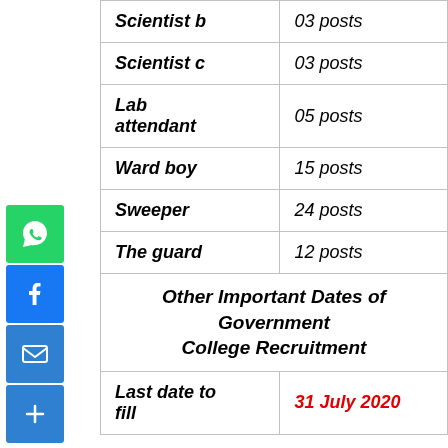| Role | Posts |
| --- | --- |
| Scientist b | 03 posts |
| Scientist c | 03 posts |
| Lab attendant | 05 posts |
| Ward boy | 15 posts |
| Sweeper | 24 posts |
| The guard | 12 posts |
| Other Important Dates of Government College Recruitment |  |
| Last date to fill | 31 July 2020 |